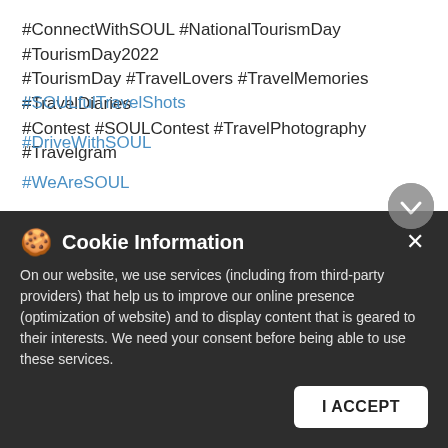#ConnectWithSOUL #NationalTourismDay #TourismDay2022 #TourismDay #TravelLovers #TravelMemories #TravelDiaries #Contest #SOULContest #TravelPhotography #Travelgram
#SOULfulTravelShots
#DriveWithSOUL
#WeAreSOUL
#ConnectWithSOUL
#NationalTourismDay
#TourismDay2022
#TourismDay
#TravelMemories
#SOULContest
#TravelPhotography
#Travelgram
Cookie Information
On our website, we use services (including from third-party providers) that help us to improve our online presence (optimization of website) and to display content that is geared to their interests. We need your consent before being able to use these services.
I ACCEPT